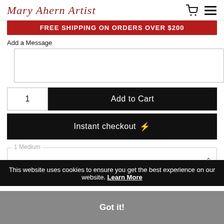Mary Ahern Artist
FREE SHIPPING ON ORDERS OVER $200
Add a Message
1  Add to Cart
Instant checkout ⚡
1 Medium
This website uses cookies to ensure you get the best experience on our website. Learn More
Got it!